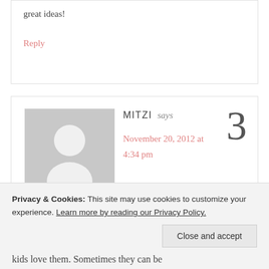great ideas!
Reply
MITZI says
November 20, 2012 at 4:34 pm
3
[Figure (illustration): Generic user avatar placeholder — grey square with white silhouette of a person]
Thanks for the reminder. These are very
Privacy & Cookies: This site may use cookies to customize your experience. Learn more by reading our Privacy Policy.
Close and accept
kids love them. Sometimes they can be